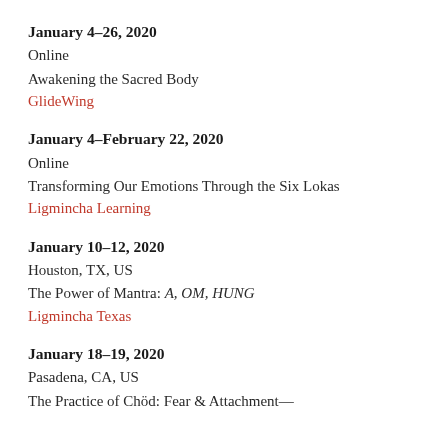January 4–26, 2020
Online
Awakening the Sacred Body
GlideWing
January 4–February 22, 2020
Online
Transforming Our Emotions Through the Six Lokas
Ligmincha Learning
January 10–12, 2020
Houston, TX, US
The Power of Mantra: A, OM, HUNG
Ligmincha Texas
January 18–19, 2020
Pasadena, CA, US
The Practice of Chöd: Fear & Attachment—